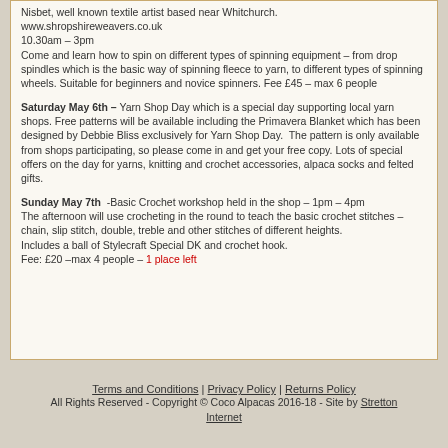Nisbet, well known textile artist based near Whitchurch. www.shropshireweavers.co.uk
10.30am – 3pm
Come and learn how to spin on different types of spinning equipment – from drop spindles which is the basic way of spinning fleece to yarn, to different types of spinning wheels. Suitable for beginners and novice spinners. Fee £45 – max 6 people
Saturday May 6th – Yarn Shop Day which is a special day supporting local yarn shops. Free patterns will be available including the Primavera Blanket which has been designed by Debbie Bliss exclusively for Yarn Shop Day.  The pattern is only available from shops participating, so please come in and get your free copy. Lots of special offers on the day for yarns, knitting and crochet accessories, alpaca socks and felted gifts.
Sunday May 7th  -Basic Crochet workshop held in the shop – 1pm – 4pm
The afternoon will use crocheting in the round to teach the basic crochet stitches – chain, slip stitch, double, treble and other stitches of different heights.
Includes a ball of Stylecraft Special DK and crochet hook.
Fee: £20 –max 4 people – 1 place left
Terms and Conditions | Privacy Policy | Returns Policy
All Rights Reserved - Copyright © Coco Alpacas 2016-18 - Site by Stretton Internet